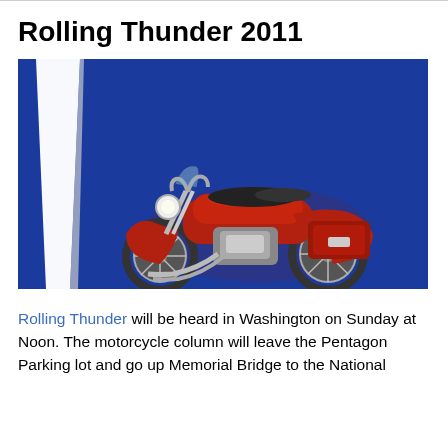Rolling Thunder 2011
[Figure (photo): Photo of a red Harley-Davidson Road King touring motorcycle in front of the Washington Monument against a blue sky background.]
Rolling Thunder will be heard in Washington on Sunday at Noon. The motorcycle column will leave the Pentagon Parking lot and go up Memorial Bridge to the National...